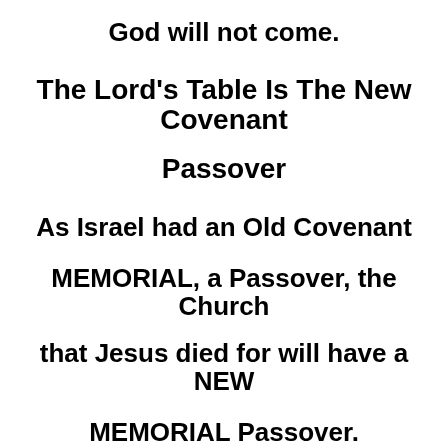God will not come.
The Lord's Table Is The New Covenant
Passover
As Israel had an Old Covenant
MEMORIAL, a Passover, the Church
that Jesus died for will have a NEW
MEMORIAL Passover.